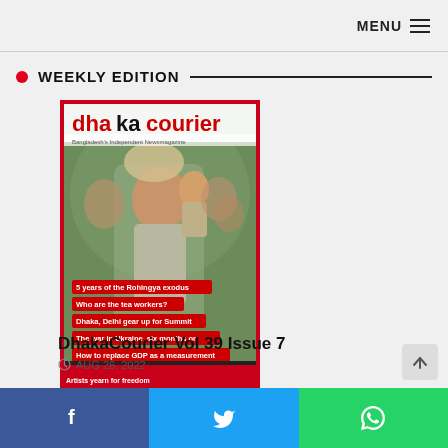MENU
WEEKLY EDITION
[Figure (photo): Magazine cover of Dhaka Courier Vol 39 Issue 7, showing a Rohingya man carrying belongings and a child, with cover lines: '5 years of the Rohingya exodus', 'Who are the tea workers?', 'Dhaka, Delhi gear up for Summit', 'The war in Ukraine, six months on', 'How to replace GDP as a measurement', 'Artists yearn for freedom']
DhakaCourier Vol 39 Issue 7
AUG 26, 2022